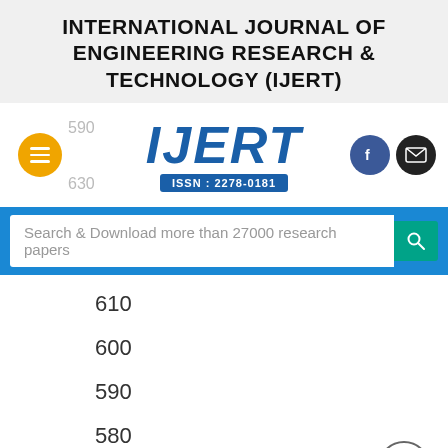INTERNATIONAL JOURNAL OF ENGINEERING RESEARCH & TECHNOLOGY (IJERT)
[Figure (logo): IJERT logo with ISSN: 2278-0181 badge, orange menu button on left showing numbers 590 and 630, social media icons (Facebook and email) on right]
Search & Download more than 27000 research papers
610
600
590
580
570